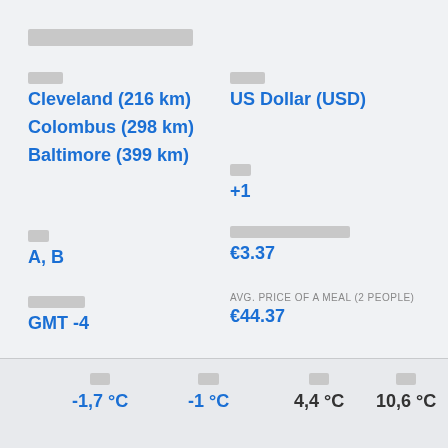██████████████
████
Cleveland (216 km)
Colombus (298 km)
Baltimore (399 km)
████
US Dollar (USD)
██
+1
██
A, B
█████████ 1 █████
€3.37
███████
GMT -4
AVG. PRICE OF A MEAL (2 PEOPLE)
€44.37
██
-1,7 °C
██
-1 °C
██
4,4 °C
██
10,6 °C